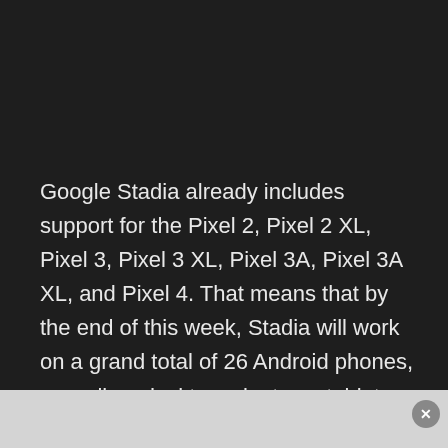Google Stadia already includes support for the Pixel 2, Pixel 2 XL, Pixel 3, Pixel 3 XL, Pixel 3A, Pixel 3A XL, and Pixel 4. That means that by the end of this week, Stadia will work on a grand total of 26 Android phones, as well as desktops, laptops, tablets, TVs, and Chromecast Ultra. You just need a Stadia Founder's Edition, Stadia Premiere Edition, or a Stadia Buddy Pass to play.